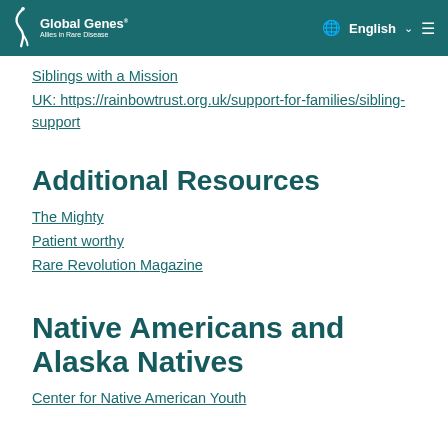Global Genes | English
Siblings with a Mission
UK: https://rainbowtrust.org.uk/support-for-families/sibling-support
Additional Resources
The Mighty
Patient worthy
Rare Revolution Magazine
Native Americans and Alaska Natives
Center for Native American Youth